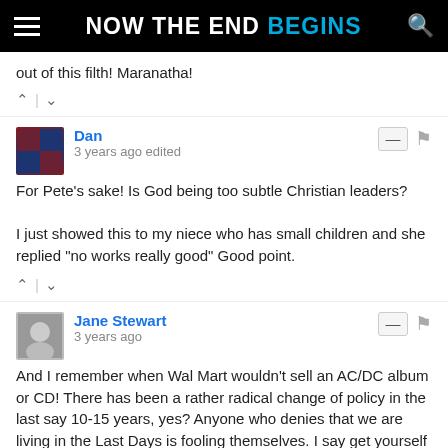NOW THE END BEGINS
out of this filth! Maranatha!
Dan
3 years ago edited

For Pete's sake! Is God being too subtle Christian leaders?

I just showed this to my niece who has small children and she replied "no works really good" Good point.
Jane Stewart
3 years ago

And I remember when Wal Mart wouldn't sell an AC/DC album or CD! There has been a rather radical change of policy in the last say 10-15 years, yes? Anyone who denies that we are living in the Last Days is fooling themselves. I say get yourself right with our Lord and help others do the same because Jesus will call us home any day and we must be ready when He does. And pray for the safety of POTUS and